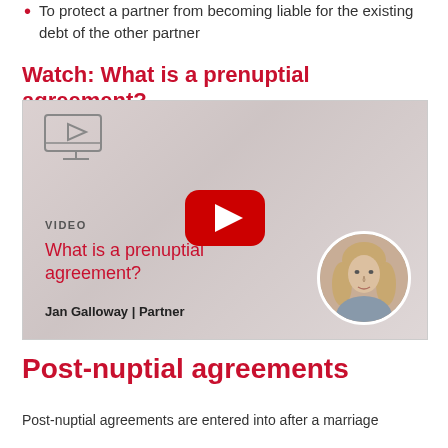To protect a partner from becoming liable for the existing debt of the other partner
Watch: What is a prenuptial agreement?
[Figure (other): Video thumbnail showing a YouTube-style play button overlay on a blurred background image of hands. Includes a monitor/screen icon top-left, 'VIDEO' label, red title 'What is a prenuptial agreement?', author credit 'Jan Galloway | Partner', and a circular portrait photo of a blonde woman.]
Post-nuptial agreements
Post-nuptial agreements are entered into after a marriage